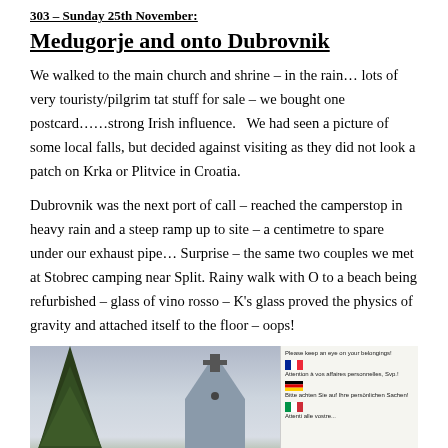303 – Sunday 25th November:
Medugorje and onto Dubrovnik
We walked to the main church and shrine – in the rain… lots of very touristy/pilgrim tat stuff for sale – we bought one postcard……strong Irish influence.   We had seen a picture of some local falls, but decided against visiting as they did not look a patch on Krka or Plitvice in Croatia.
Dubrovnik was the next port of call – reached the camperstop in heavy rain and a steep ramp up to site – a centimetre to spare under our exhaust pipe… Surprise – the same two couples we met at Stobrec camping near Split. Rainy walk with O to a beach being refurbished – glass of vino rosso – K's glass proved the physics of gravity and attached itself to the floor – oops!
[Figure (photo): Photo showing two church spires with crosses against an overcast sky, with a tall conifer tree on the left, and a multilingual sign panel on the right with flags (French, German, Italian) and text asking visitors to keep belongings safe.]